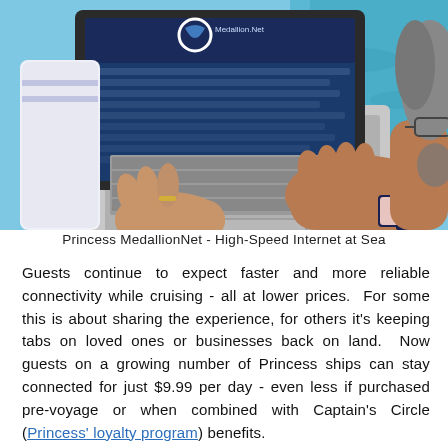[Figure (photo): Man typing on a MacBook laptop outdoors near a pool, using Princess MedallionNet. A pink OceanMedallion wearable device is visible on his wrist/lanyard. The laptop screen shows the Medallion.net website with the Princess Cruises logo.]
Princess MedallionNet - High-Speed Internet at Sea
Guests continue to expect faster and more reliable connectivity while cruising - all at lower prices.  For some this is about sharing the experience, for others it's keeping tabs on loved ones or businesses back on land.  Now guests on a growing number of Princess ships can stay connected for just $9.99 per day - even less if purchased pre-voyage or when combined with Captain's Circle (Princess' loyalty program) benefits.